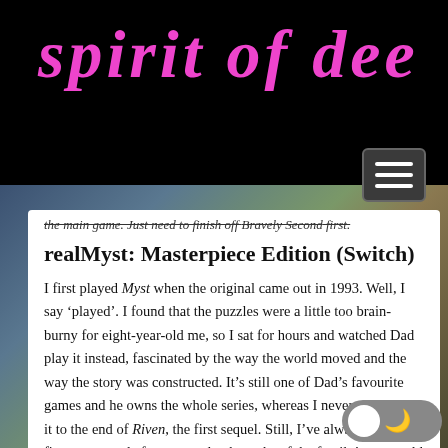spirit of dee
the main game. Just need to finish off Bravely Second first.
realMyst: Masterpiece Edition (Switch)
I first played Myst when the original came out in 1993. Well, I say ‘played’. I found that the puzzles were a little too brain-burny for eight-year-old me, so I sat for hours and watched Dad play it instead, fascinated by the way the world moved and the way the story was constructed. It’s still one of Dad’s favourite games and he owns the whole series, whereas I never even made it to the end of Riven, the first sequel. Still, I’ve always loved the first game, and after many playthroughs of the family’s ropey old CD-ROM copy, I decided to grab the updated bells ‘n’ whistles version when it came out on Switch in spring 2020.
The majesty of the original graphics is still breathtaking – but